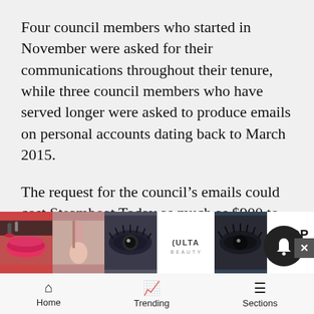Four council members who started in November were asked for their communications throughout their tenure, while three council members who have served longer were asked to produce emails on personal accounts dating back to March 2015.
The request for the council’s emails could cost Steamboat Today as much as $900 to fulfill if it decides to pursue the emails, Foote said.
The council’s method of communication also raises questions about whether potential public records have been deleted and withheld from potential public release.
Foote … the co… them.
[Figure (other): Advertisement banner showing cosmetics/makeup images with ULTA beauty logo and SHOP NOW call to action]
Home   Trending   Sections